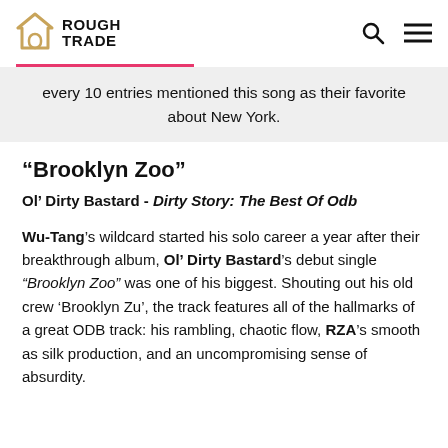ROUGH TRADE
every 10 entries mentioned this song as their favorite about New York.
“Brooklyn Zoo”
Ol’ Dirty Bastard - Dirty Story: The Best Of Odb
Wu-Tang’s wildcard started his solo career a year after their breakthrough album, Ol’ Dirty Bastard’s debut single “Brooklyn Zoo” was one of his biggest. Shouting out his old crew ‘Brooklyn Zu’, the track features all of the hallmarks of a great ODB track: his rambling, chaotic flow, RZA’s smooth as silk production, and an uncompromising sense of absurdity.